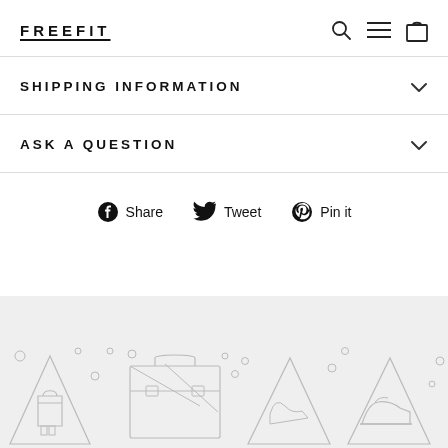FREEFIT
SHIPPING INFORMATION
ASK A QUESTION
Share  Tweet  Pin it
[Figure (illustration): Footer banner with outline illustrations of bags, shoes, and accessories on a light gray background]